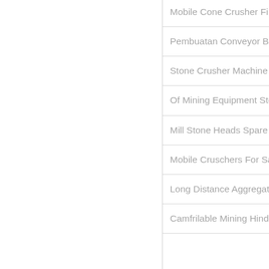Mobile Cone Crusher Fi…
Pembuatan Conveyor Be…
Stone Crusher Machine S…
Of Mining Equipment Sto…
Mill Stone Heads Spare P…
Mobile Cruschers For Sa…
Long Distance Aggregat…
Camfrilable Mining Hindi…